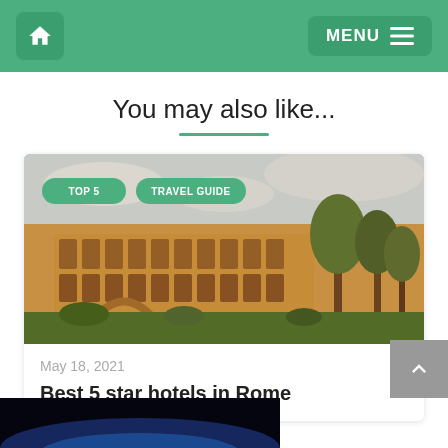Home | MENU
You may also like...
[Figure (photo): Aerial view of the Colosseum and Roman Forum in Rome, Italy with trees in the foreground. Overlay tags: TOP 5, TRAVEL GUIDE]
May 18, 2021
Best 5 star hotels in Rome